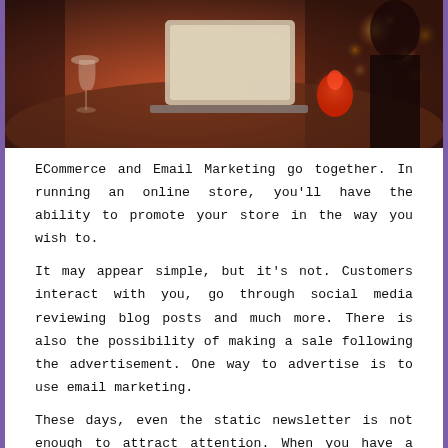[Figure (photo): A dimly lit restaurant/bar scene with a laptop on a table, wine glasses, and bokeh lighting in the background with warm red and yellow tones.]
ECommerce and Email Marketing go together. In running an online store, you'll have the ability to promote your store in the way you wish to.
It may appear simple, but it's not. Customers interact with you, go through social media reviewing blog posts and much more. There is also the possibility of making a sale following the advertisement. One way to advertise is to use email marketing.
These days, even the static newsletter is not enough to attract attention. When you have a strategy to implement, you can say hi to Aweber.
This review will cover Aweber, how the email marketing